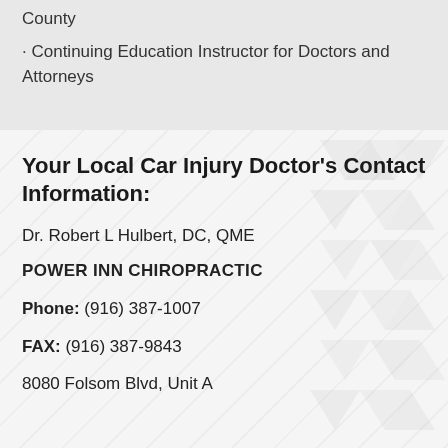County
· Continuing Education Instructor for Doctors and Attorneys
Your Local Car Injury Doctor's Contact Information:
Dr. Robert L Hulbert, DC, QME
POWER INN CHIROPRACTIC
Phone: (916) 387-1007
FAX: (916) 387-9843
8080 Folsom Blvd, Unit A...